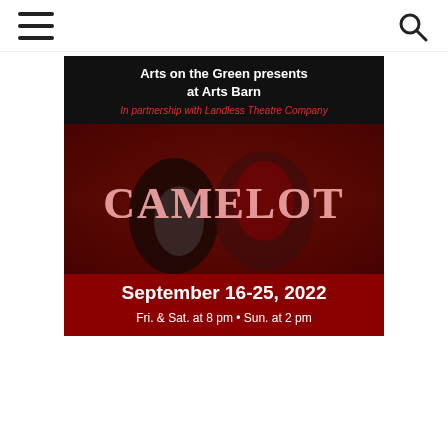Navigation header with menu and search icons
[Figure (illustration): Promotional poster for Camelot musical. Black background at top with white bold text 'Arts on the Green presents at Arts Barn', red italic text 'In partnership with Landless Theatre Company', large stylized white/red text 'CAMELOT' over a dramatic photo of two figures in medieval costume, dark red banner at bottom with white bold text 'September 16-25, 2022' and 'Fri. & Sat. at 8 pm  •  Sun. at 2 pm']